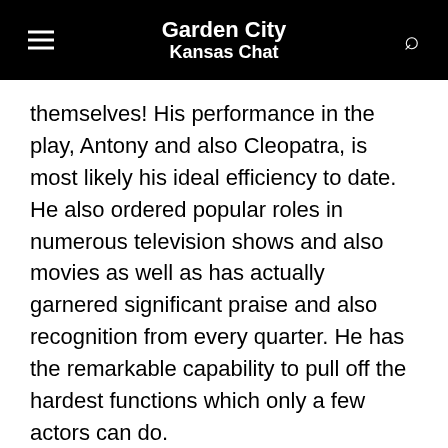Garden City Kansas Chat
themselves! His performance in the play, Antony and also Cleopatra, is most likely his ideal efficiency to date. He also ordered popular roles in numerous television shows and also movies as well as has actually garnered significant praise and also recognition from every quarter. He has the remarkable capability to pull off the hardest functions which only a few actors can do.